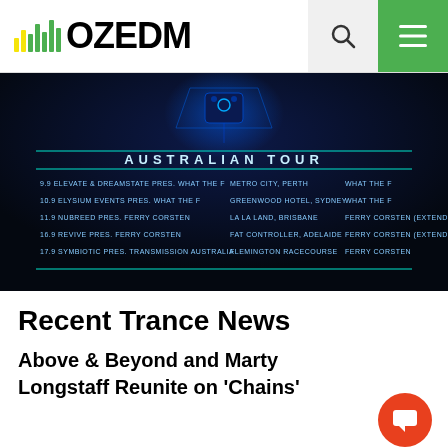[Figure (logo): OZEDM logo with yellow/green music bar equalizer icon and bold black OZEDM text, plus search and hamburger menu icons]
[Figure (infographic): Australian Tour poster with dark blue background showing Ferry Corsten tour dates: 9.9 Elevate & Dreamstate Pres. What The F – Metro City, Perth – What The F; 10.9 Elysium Events Pres. What The F – Greenwood Hotel, Sydney – What The F; 11.9 Nubreed Pres. Ferry Corsten – La La Land, Brisbane – Ferry Corsten (Extended Set); 16.9 Revive Pres. Ferry Corsten – Fat Controller, Adelaide – Ferry Corsten (Extended Set); 17.9 Symbiotic Pres. Transmission Australia – Flemington Racecourse – Perry Corsten]
Recent Trance News
Above & Beyond and Marty Longstaff Reunite on 'Chains'